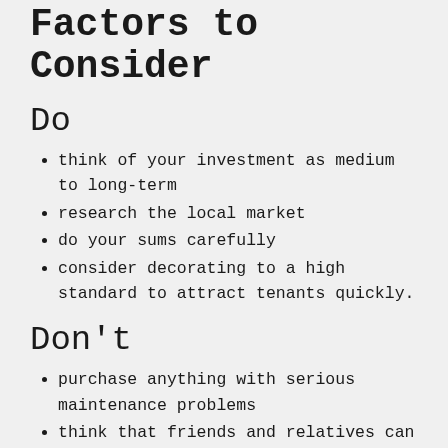Factors to Consider
Do
think of your investment as medium to long-term
research the local market
do your sums carefully
consider decorating to a high standard to attract tenants quickly.
Don't
purchase anything with serious maintenance problems
think that friends and relatives can look after the letting for you - you're probably better off with a full management service
cut corners with tenancy agreements and other legal documentation.
Which…